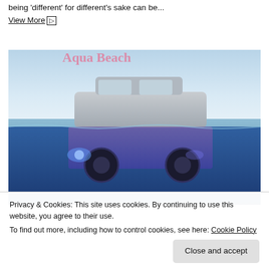being 'different' for different's sake can be...
View More ▷
[Figure (photo): A car partially submerged in ocean water, shown from below and above the waterline. The upper half shows a white/silver sedan above water against a sky background, with pink floral text overlay at the top. The lower half shows the car underwater with blue/purple hues and headlights glowing.]
Privacy & Cookies: This site uses cookies. By continuing to use this website, you agree to their use.
To find out more, including how to control cookies, see here: Cookie Policy
Close and accept